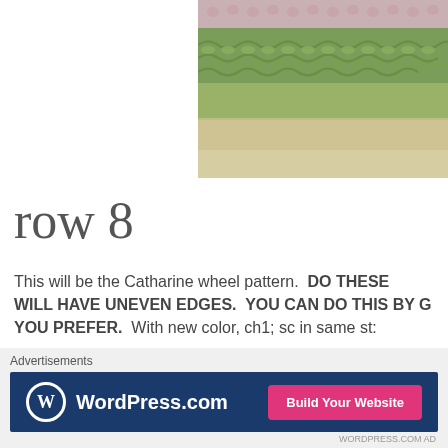[Figure (photo): Close-up photograph of crochet work showing green yarn stitches with pink/beige accents along the top edge, on a light background]
row 8
This will be the Catharine wheel pattern. DO THESE WILL HAVE UNEVEN EDGES. YOU CAN DO THIS BY G YOU PREFER. With new color, ch1; sc in same st:
[Figure (screenshot): WordPress.com advertisement banner with logo and 'Build Your Website' button]
Advertisements